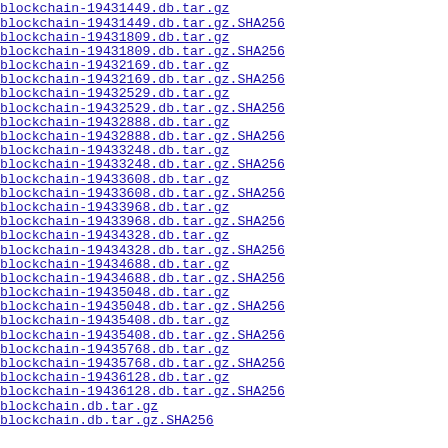blockchain-19431449.db.tar.gz  28-Aug
blockchain-19431449.db.tar.gz.SHA256  28-Aug
blockchain-19431809.db.tar.gz  28-Aug
blockchain-19431809.db.tar.gz.SHA256  28-Aug
blockchain-19432169.db.tar.gz  28-Aug
blockchain-19432169.db.tar.gz.SHA256  28-Aug
blockchain-19432529.db.tar.gz  28-Aug
blockchain-19432529.db.tar.gz.SHA256  28-Aug
blockchain-19432888.db.tar.gz  28-Aug
blockchain-19432888.db.tar.gz.SHA256  28-Aug
blockchain-19433248.db.tar.gz  28-Aug
blockchain-19433248.db.tar.gz.SHA256  28-Aug
blockchain-19433608.db.tar.gz  28-Aug
blockchain-19433608.db.tar.gz.SHA256  28-Aug
blockchain-19433968.db.tar.gz  28-Aug
blockchain-19433968.db.tar.gz.SHA256  28-Aug
blockchain-19434328.db.tar.gz  28-Aug
blockchain-19434328.db.tar.gz.SHA256  28-Aug
blockchain-19434688.db.tar.gz  28-Aug
blockchain-19434688.db.tar.gz.SHA256  28-Aug
blockchain-19435048.db.tar.gz  28-Aug
blockchain-19435048.db.tar.gz.SHA256  28-Aug
blockchain-19435408.db.tar.gz  28-Aug
blockchain-19435408.db.tar.gz.SHA256  28-Aug
blockchain-19435768.db.tar.gz  28-Aug
blockchain-19435768.db.tar.gz.SHA256  28-Aug
blockchain-19436128.db.tar.gz  28-Aug
blockchain-19436128.db.tar.gz.SHA256  28-Aug
blockchain.db.tar.gz  28-Aug
blockchain.db.tar.gz.SHA256  28-Aug